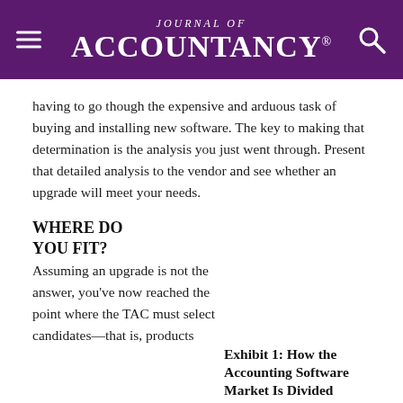Journal of Accountancy
having to go though the expensive and arduous task of buying and installing new software. The key to making that determination is the analysis you just went through. Present that detailed analysis to the vendor and see whether an upgrade will meet your needs.
WHERE DO YOU FIT?
Assuming an upgrade is not the answer, you've now reached the point where the TAC must select candidates—that is, products
Exhibit 1: How the Accounting Software Market Is Divided